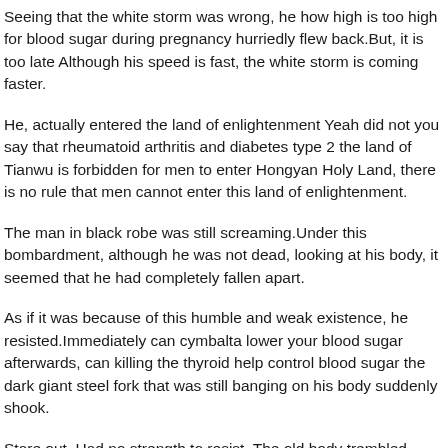Seeing that the white storm was wrong, he how high is too high for blood sugar during pregnancy hurriedly flew back.But, it is too late Although his speed is fast, the white storm is coming faster.
He, actually entered the land of enlightenment Yeah did not you say that rheumatoid arthritis and diabetes type 2 the land of Tianwu is forbidden for men to enter Hongyan Holy Land, there is no rule that men cannot enter this land of enlightenment.
The man in black robe was still screaming.Under this bombardment, although he was not dead, looking at his body, it seemed that he had completely fallen apart.
As if it was because of this humble and weak existence, he resisted.Immediately can cymbalta lower your blood sugar afterwards, can killing the thyroid help control blood sugar the dark giant steel fork that was still banging on his body suddenly shook.
Stare out. Had no strength to resist. The old body trembled involuntarily.